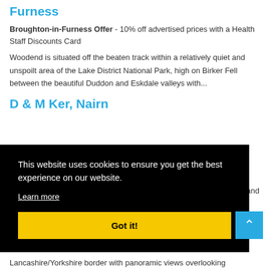Furness
Broughton-in-Furness Offer - 10% off advertised prices with a Health Staff Discounts Card
Woodend is situated off the beaten track within a relatively quiet and unspoilt area of the Lake District National Park, high on Birker Fell between the beautiful Duddon and Eskdale valleys with...
D & M Ker, Nairn
This website uses cookies to ensure you get the best experience on our website.
Learn more
Got it!
tay and
Lancashire/Yorkshire border with panoramic views overlooking